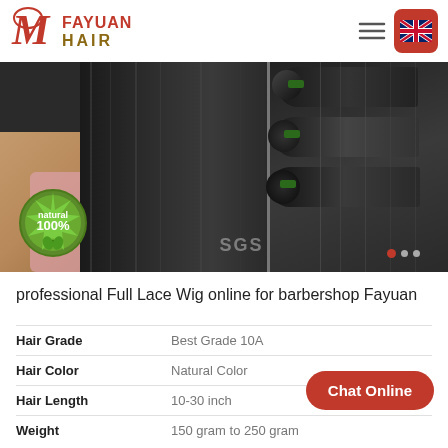Fayuan Hair - professional Full Lace Wig online for barbershop Fayuan
[Figure (photo): Product hero image showing a model with long straight black hair on left side and bundles of straight hair extensions on right side. A green '100% Natural' badge is visible in the lower left. SGS text and slider dots appear at the bottom.]
professional Full Lace Wig online for barbershop Fayuan
| Attribute | Value |
| --- | --- |
| Hair Grade | Best Grade 10A |
| Hair Color | Natural Color |
| Hair Length | 10-30 inch |
| Weight | 150 gram to 250 gram |